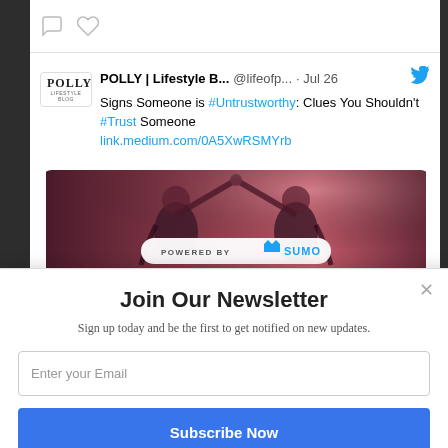[Figure (screenshot): Tweet from POLLY Lifestyle Blog showing a post about 'Signs Someone is #Untrustworthy: Clues You Shouldn't #Trust Someone' with link and photo of two people]
Join Our Newsletter
Sign up today and be the first to get notified on new updates.
Enter your Email
Subscribe Now